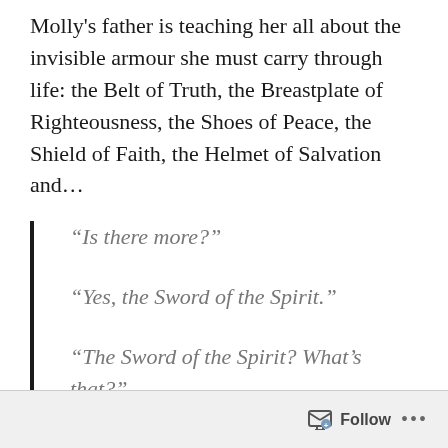Molly's father is teaching her all about the invisible armour she must carry through life: the Belt of Truth, the Breastplate of Righteousness, the Shoes of Peace, the Shield of Faith, the Helmet of Salvation and...
“Is there more?”
“Yes, the Sword of the Spirit.”
“The Sword of the Spirit? What’s that?”
“The Book of Truth.”
Follow